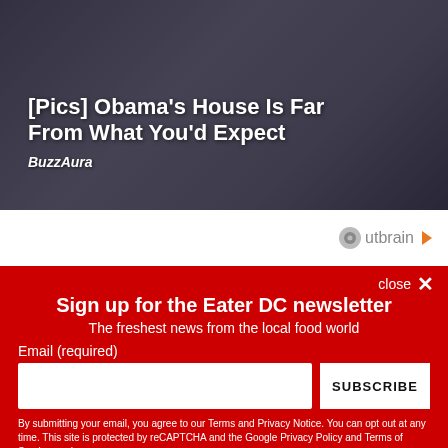[Figure (photo): Close-up photo of two people's faces, dark/blurry background, used as advertisement banner]
[Pics] Obama's House Is Far From What You'd Expect
BuzzAura
Outbrain
close ✕
Sign up for the Eater DC newsletter
The freshest news from the local food world
Email (required)
SUBSCRIBE
By submitting your email, you agree to our Terms and Privacy Notice. You can opt out at any time. This site is protected by reCAPTCHA and the Google Privacy Policy and Terms of Service apply.